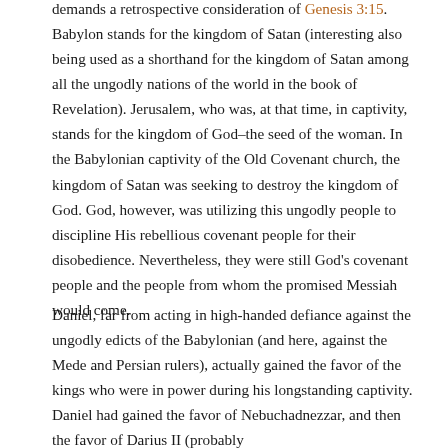demands a retrospective consideration of Genesis 3:15. Babylon stands for the kingdom of Satan (interesting also being used as a shorthand for the kingdom of Satan among all the ungodly nations of the world in the book of Revelation). Jerusalem, who was, at that time, in captivity, stands for the kingdom of God–the seed of the woman. In the Babylonian captivity of the Old Covenant church, the kingdom of Satan was seeking to destroy the kingdom of God. God, however, was utilizing this ungodly people to discipline His rebellious covenant people for their disobedience. Nevertheless, they were still God's covenant people and the people from whom the promised Messiah would come.
Daniel, far from acting in high-handed defiance against the ungodly edicts of the Babylonian (and here, against the Mede and Persian rulers), actually gained the favor of the kings who were in power during his longstanding captivity. Daniel had gained the favor of Nebuchadnezzar, and then the favor of Darius II (probably